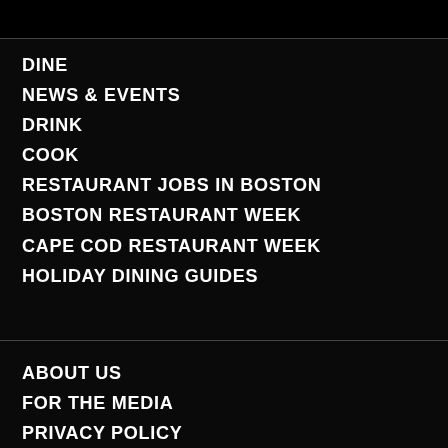DINE
NEWS & EVENTS
DRINK
COOK
RESTAURANT JOBS IN BOSTON
BOSTON RESTAURANT WEEK
CAPE COD RESTAURANT WEEK
HOLIDAY DINING GUIDES
ABOUT US
FOR THE MEDIA
PRIVACY POLICY